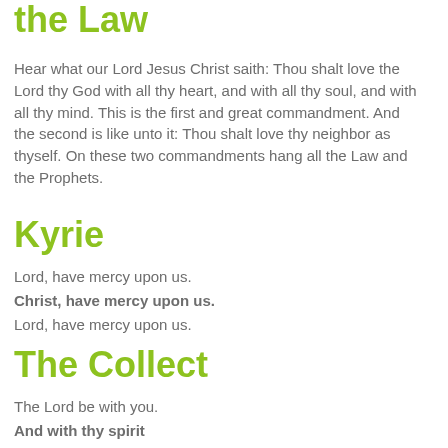the Law
Hear what our Lord Jesus Christ saith: Thou shalt love the Lord thy God with all thy heart, and with all thy soul, and with all thy mind. This is the first and great commandment. And the second is like unto it: Thou shalt love thy neighbor as thyself. On these two commandments hang all the Law and the Prophets.
Kyrie
Lord, have mercy upon us.
Christ, have mercy upon us.
Lord, have mercy upon us.
The Collect
The Lord be with you.
And with thy spirit
Let us pray.